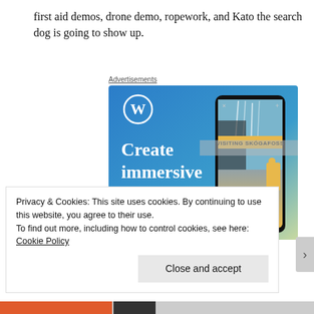first aid demos, drone demo, ropework, and Kato the search dog is going to show up.
Advertisements
[Figure (illustration): WordPress advertisement showing 'Create immersive stories.' text on blue gradient background with a smartphone showing a waterfall scene labeled 'VISITING SKOGAFOSS' and the WordPress logo.]
Privacy & Cookies: This site uses cookies. By continuing to use this website, you agree to their use.
To find out more, including how to control cookies, see here: Cookie Policy
Close and accept